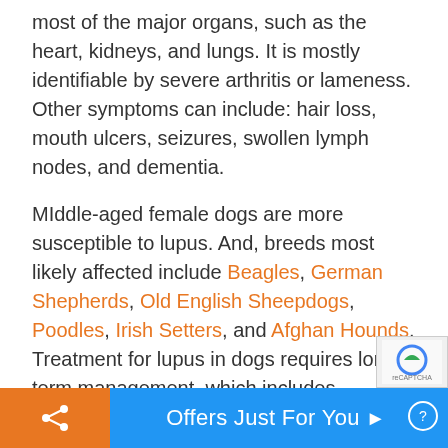most of the major organs, such as the heart, kidneys, and lungs. It is mostly identifiable by severe arthritis or lameness. Other symptoms can include: hair loss, mouth ulcers, seizures, swollen lymph nodes, and dementia.
MIddle-aged female dogs are more susceptible to lupus. And, breeds most likely affected include Beagles, German Shepherds, Old English Sheepdogs, Poodles, Irish Setters, and Afghan Hounds. Treatment for lupus in dogs requires long-term management, which includes medication and lifestyle changes to help limit inflammation and other symptoms from occurring.
General Symptoms of Canine Autoimmune
Offers Just For You